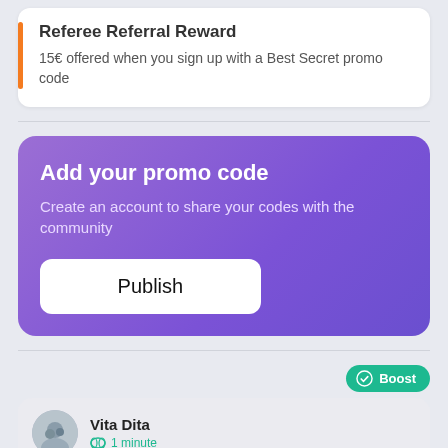Referee Referral Reward
15€ offered when you sign up with a Best Secret promo code
Add your promo code
Create an account to share your codes with the community
Publish
Boost
Vita Dita
1 minute